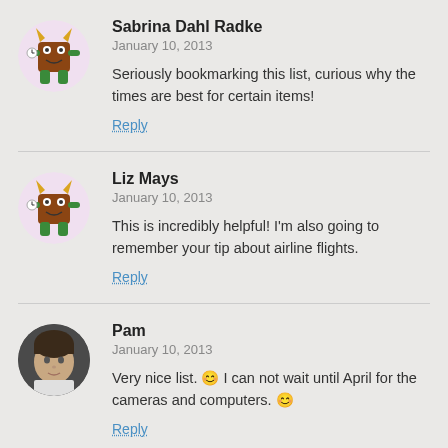Sabrina Dahl Radke
January 10, 2013
Seriously bookmarking this list, curious why the times are best for certain items!
Reply
Liz Mays
January 10, 2013
This is incredibly helpful! I'm also going to remember your tip about airline flights.
Reply
Pam
January 10, 2013
Very nice list. 😊 I can not wait until April for the cameras and computers. 😊
Reply